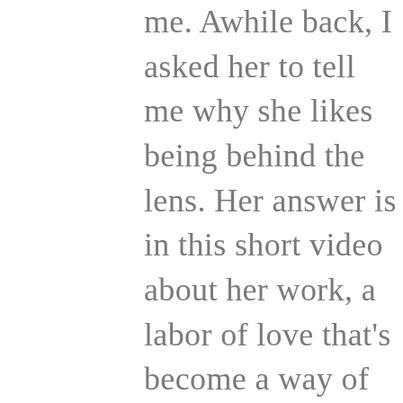me. Awhile back, I asked her to tell me why she likes being behind the lens. Her answer is in this short video about her work, a labor of love that's become a way of life for her.

She has been taking pictures since her kids were born, but